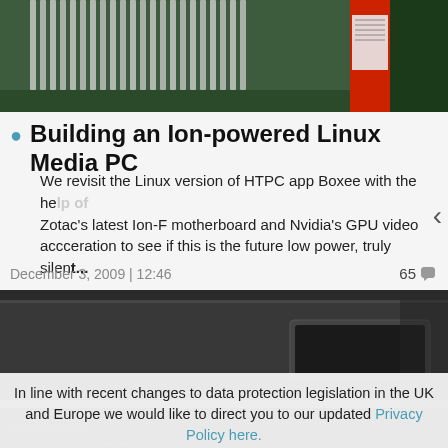[Figure (photo): Close-up photo of computer motherboard heatsinks and components, green and red circuit boards visible at top]
Building an Ion-powered Linux Media PC
We revisit the Linux version of HTPC app Boxee with the help of Zotac's latest Ion-F motherboard and Nvidia's GPU video accceration to see if this is the future low power, truly silent...
December 3, 2009 | 12:46
65
[Figure (photo): Photo of a dark grey/black PC tower case with a silver horizontal stripe and drive bays visible]
In line with recent changes to data protection legislation in the UK and Europe we would like to direct you to our updated Privacy Policy here.
Dismiss